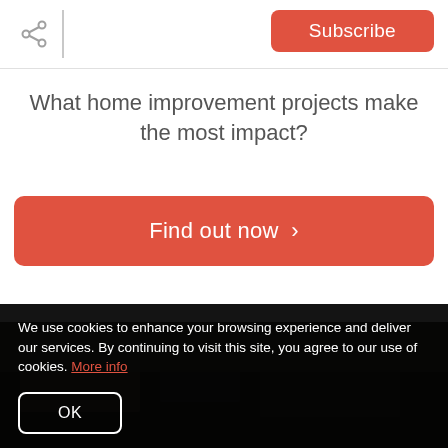Subscribe
What home improvement projects make the most impact?
[Figure (other): Red CTA button with text 'Find out now >' linking to home improvement article]
[Figure (photo): Dark background photo of a home improvement scene]
We use cookies to enhance your browsing experience and deliver our services. By continuing to visit this site, you agree to our use of cookies. More info
OK